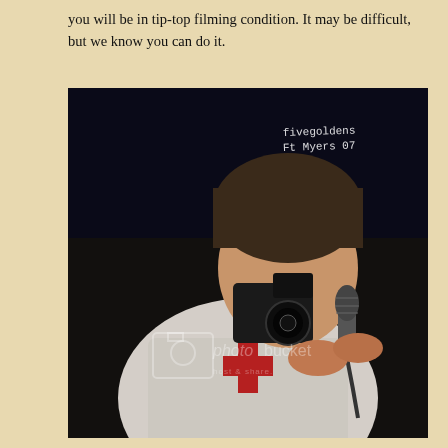you will be in tip-top filming condition. It may be difficult, but we know you can do it.
[Figure (photo): A young man in a white jacket holds a video camera up to his face while also holding a microphone. The photo is watermarked with 'photobucket' and has a handwritten annotation in the upper right reading 'fivegoldens Ft Myers 07'. The background is dark.]